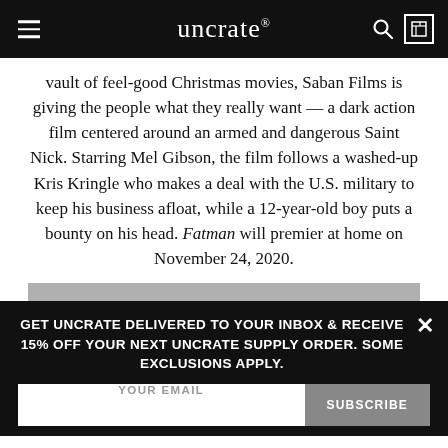uncrate®
vault of feel-good Christmas movies, Saban Films is giving the people what they really want — a dark action film centered around an armed and dangerous Saint Nick. Starring Mel Gibson, the film follows a washed-up Kris Kringle who makes a deal with the U.S. military to keep his business afloat, while a 12-year-old boy puts a bounty on his head. Fatman will premier at home on November 24, 2020.
GET UNCRATE DELIVERED TO YOUR INBOX & RECEIVE 15% OFF YOUR NEXT UNCRATE SUPPLY ORDER. SOME EXCLUSIONS APPLY.